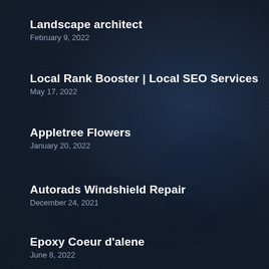Landscape architect
February 9, 2022
Local Rank Booster | Local SEO Services
May 17, 2022
Appletree Flowers
January 20, 2022
Autorads Windshield Repair
December 24, 2021
Epoxy Coeur d'alene
June 8, 2022